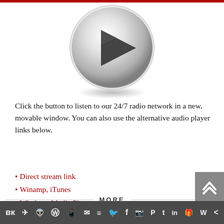[Figure (illustration): A metallic silver play button (circle with triangle arrow) partially visible at top of page]
Click the button to listen to our 24/7 radio network in a new, movable window. You can also use the alternative audio player links below.
Direct stream link
Winamp, iTunes
Windows Media Player
Quicktime
MORE
[Figure (illustration): Social media sharing toolbar with icons: VK, Telegram, Reddit, WordPress, WhatsApp, Email, Layers, Twitter, Facebook, Instagram, Pinterest, Tumblr, LinkedIn, gift, Wattpad, share. Dark gray background.]